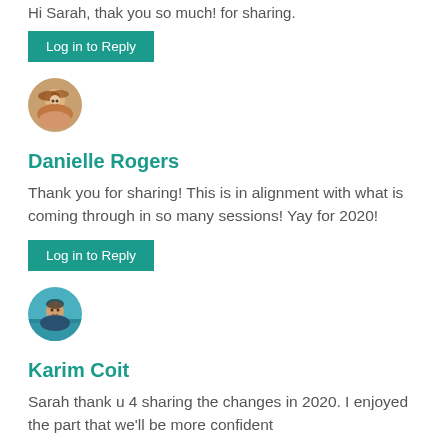Hi Sarah, thak you so much! for sharing.
Log in to Reply
[Figure (photo): Round avatar photo of a woman with brown hair smiling]
Danielle Rogers
Thank you for sharing! This is in alignment with what is coming through in so many sessions! Yay for 2020!
Log in to Reply
[Figure (photo): Round avatar photo of a person near water]
Karim Coit
Sarah thank u 4 sharing the changes in 2020. I enjoyed the part that we'll be more confident